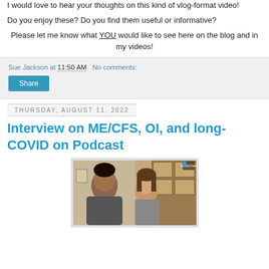I would love to hear your thoughts on this kind of vlog-format video!
Do you enjoy these? Do you find them useful or informative?
Please let me know what YOU would like to see here on the blog and in my videos!
Sue Jackson at 11:50 AM   No comments:
Share
Thursday, August 11, 2022
Interview on ME/CFS, OI, and long-COVID on Podcast
[Figure (screenshot): Video call screenshot showing two people: a man on the left side and a woman on the right side, appearing to be on a podcast interview.]